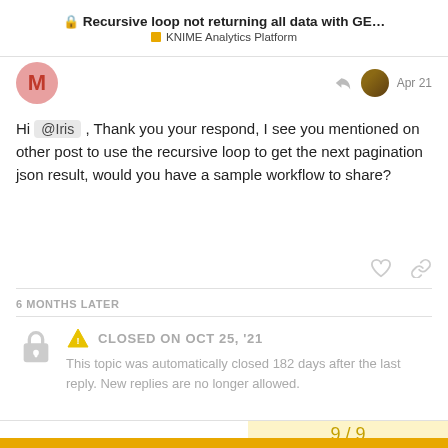🔒 Recursive loop not returning all data with GE... | KNIME Analytics Platform
Hi @Iris , Thank you your respond, I see you mentioned on other post to use the recursive loop to get the next pagination json result, would you have a sample workflow to share?
6 MONTHS LATER
CLOSED ON OCT 25, '21
This topic was automatically closed 182 days after the last reply. New replies are no longer allowed.
9 / 9